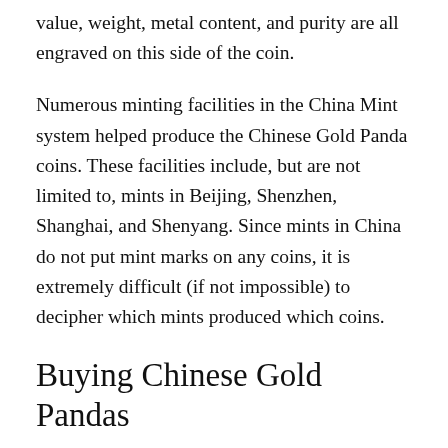value, weight, metal content, and purity are all engraved on this side of the coin.
Numerous minting facilities in the China Mint system helped produce the Chinese Gold Panda coins. These facilities include, but are not limited to, mints in Beijing, Shenzhen, Shanghai, and Shenyang. Since mints in China do not put mint marks on any coins, it is extremely difficult (if not impossible) to decipher which mints produced which coins.
Buying Chinese Gold Pandas
The most popular coins in the series are the 1, ½, and ¼ ounce weights. Although exact mint